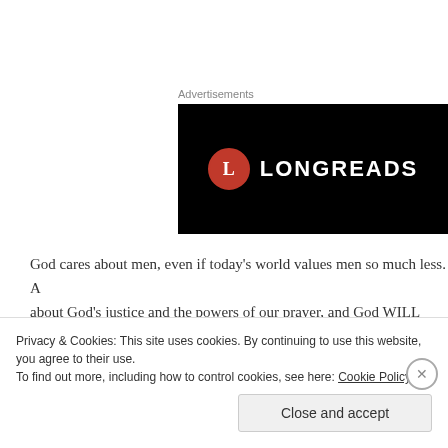Advertisements
[Figure (logo): Longreads logo — white 'L' in red circle on black background with 'LONGREADS' text in white]
God cares about men, even if today's world values men so much less. A about God's justice and the powers of our prayer, and God WILL hear t
Luke 18:1-18
18 Now Jesus was telling the disciples a parable to make the po
Privacy & Cookies: This site uses cookies. By continuing to use this website, you agree to their use.
To find out more, including how to control cookies, see here: Cookie Policy
Close and accept